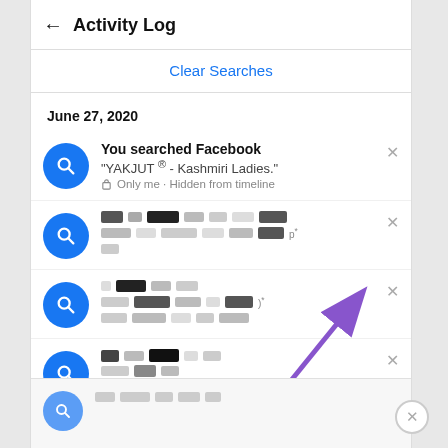Activity Log
Clear Searches
June 27, 2020
You searched Facebook "YAKJUT ® - Kashmiri Ladies." Only me • Hidden from timeline
[redacted search entry]
[redacted search entry]
[redacted search entry]